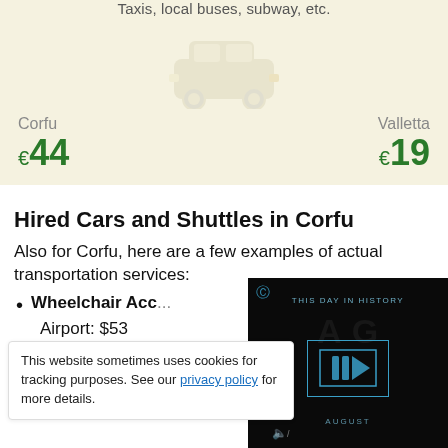Taxis, local buses, subway, etc.
Corfu   €44        Valletta   €19
Hired Cars and Shuttles in Corfu
Also for Corfu, here are a few examples of actual transportation services:
Wheelchair Acc...
Airport: $53
This website sometimes uses cookies for tracking purposes. See our privacy policy for more details.
[Figure (screenshot): Video overlay showing 'THIS DAY IN HISTORY' with play button and AUGUST label, dark background]